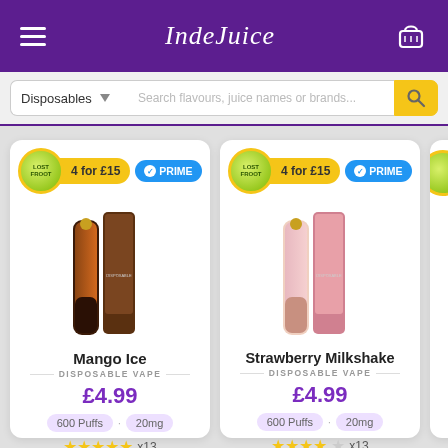IndeJuice — Disposables
Search flavours, juice names or brands...
[Figure (screenshot): Product card for Mango Ice disposable vape. 4 for £15 badge, PRIME badge. Price £4.99. 600 Puffs, 20mg. 4.5 stars x13. Flavour icons: ice, mango.]
Mango Ice
DISPOSABLE VAPE
£4.99
600 Puffs · 20mg
x13
[Figure (screenshot): Product card for Strawberry Milkshake disposable vape. 4 for £15 badge, PRIME badge. Price £4.99. 600 Puffs, 20mg. 4 stars x13. Flavour icons: strawberry, ice cream.]
Strawberry Milkshake
DISPOSABLE VAPE
£4.99
600 Puffs · 20mg
x13